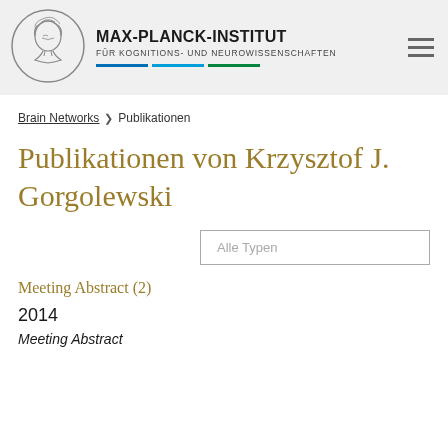MAX-PLANCK-INSTITUT FÜR KOGNITIONS- UND NEUROWISSENSCHAFTEN
Brain Networks  ❯  Publikationen
Publikationen von Krzysztof J. Gorgolewski
Alle Typen
Meeting Abstract (2)
2014
Meeting Abstract